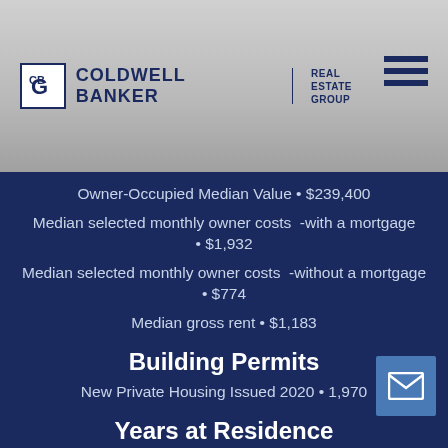Coldwell Banker Real Estate Group
Owner-Occupied Median Value • $239,400
Median selected monthly owner costs -with a mortgage • $1,932
Median selected monthly owner costs -without a mortgage • $774
Median gross rent • $1,183
Building Permits
New Private Housing Issued 2020 • 1,970
Years at Residence
1 Year or More • 90.6%
Less Than 1 Year • 9.4%
Business and Employment
Private non-farm Establishments • 15,842